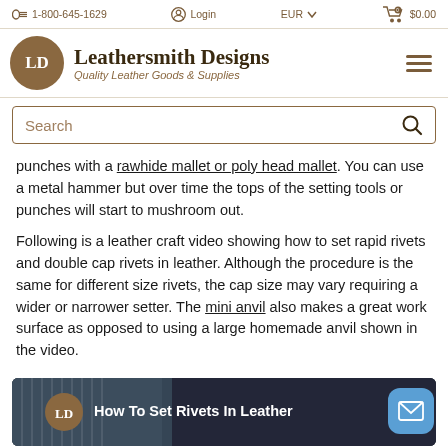1-800-645-1629  Login  EUR  $0.00
[Figure (logo): Leathersmith Designs logo circle with LD initials]
Leathersmith Designs — Quality Leather Goods & Supplies
Search
punches with a rawhide mallet or poly head mallet. You can use a metal hammer but over time the tops of the setting tools or punches will start to mushroom out.
Following is a leather craft video showing how to set rapid rivets and double cap rivets in leather. Although the procedure is the same for different size rivets, the cap size may vary requiring a wider or narrower setter. The mini anvil also makes a great work surface as opposed to using a large homemade anvil shown in the video.
[Figure (screenshot): Video thumbnail showing How To Set Rivets In Leather with LD logo circle and dark background]